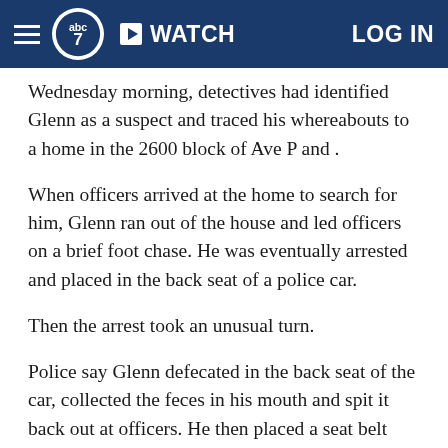abc7 | WATCH | LOG IN
Wednesday morning, detectives had identified Glenn as a suspect and traced his whereabouts to a home in the 2600 block of Ave P and .
When officers arrived at the home to search for him, Glenn ran out of the house and led officers on a brief foot chase. He was eventually arrested and placed in the back seat of a police car.
Then the arrest took an unusual turn.
Police say Glenn defecated in the back seat of the car, collected the feces in his mouth and spit it back out at officers. He then placed a seat belt around his throat, reportedly in an attempt to choke himself. Officers